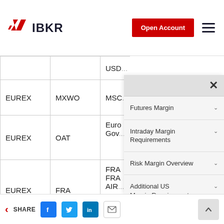IBKR - Open Account
| Exchange | Symbol | Description |
| --- | --- | --- |
|  |  | USD... |
| EUREX | MXWO | MSC... |
| EUREX | OAT | Euro Gov... |
| EUREX | FRA | FRA FRA AIR... |
| EUREX | DJESS | Euro... |
| EUREX | DJ200S | Dow Sma... |
|  |  | STO... |
| EUREX | SXPESO... |  |
[Figure (screenshot): Dropdown navigation menu overlay showing: Futures Margin, Intraday Margin Requirements, Risk Margin Overview, Additional US Margin Requirements, Further Reading — each with a chevron. A close X button at top right.]
SHARE [Facebook] [Twitter] [LinkedIn] [Email]